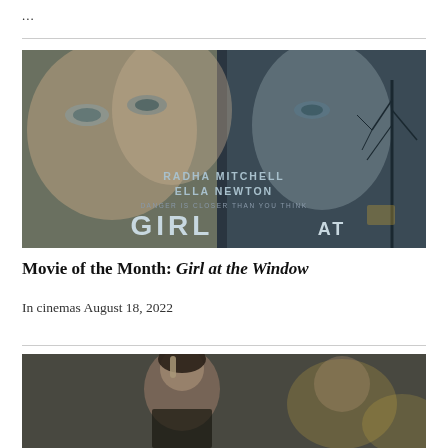...
[Figure (photo): Movie poster for Girl at the Window featuring two women's faces — one blonde in foreground, one darker-haired behind — with text 'RADHA MITCHELL ELLA NEWTON DANGER IS CLOSER THAN YOU THINK GIRL AT' on a dark atmospheric background with bare trees]
Movie of the Month: Girl at the Window
In cinemas August 18, 2022
[Figure (photo): Partial photo of a man gesturing with his finger raised, appearing to be at a formal event, with blurred background]